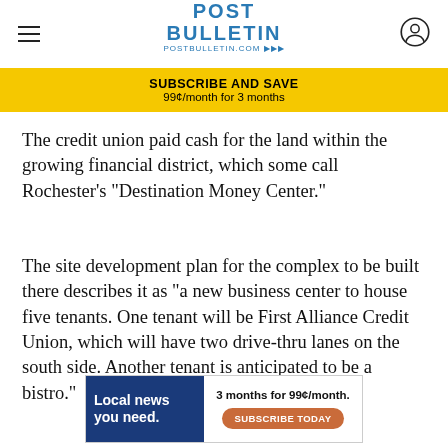POST BULLETIN | POSTBULLETIN.COM
SUBSCRIBE AND SAVE 99¢/month for 3 months
The credit union paid cash for the land within the growing financial district, which some call Rochester's "Destination Money Center."
The site development plan for the complex to be built there describes it as "a new business center to house five tenants. One tenant will be First Alliance Credit Union, which will have two drive-thru lanes on the south side. Another tenant is anticipated to be a bistro."
[Figure (infographic): Advertisement banner: 'Local news you need. 3 months for 99¢/month. SUBSCRIBE TODAY']